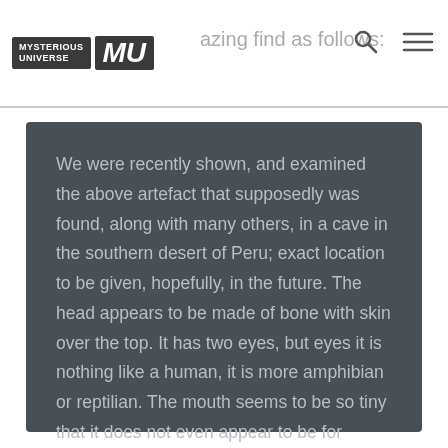MYSTERIOUS UNIVERSE MU — amazing find as follows:
We were recently shown, and examined the above artefact that supposedly was found, along with many others, in a cave in the southern desert of Peru; exact location to be given, hopefully, in the future. The head appears to be made of bone with skin over the top. It has two eyes, but eyes it is nothing like a human, it is more amphibian or reptilian. The mouth seems to be so tiny that it does not even appear to be for feeding. It is a very mysterious thing and I can't imagine how those two specimens could be fake.